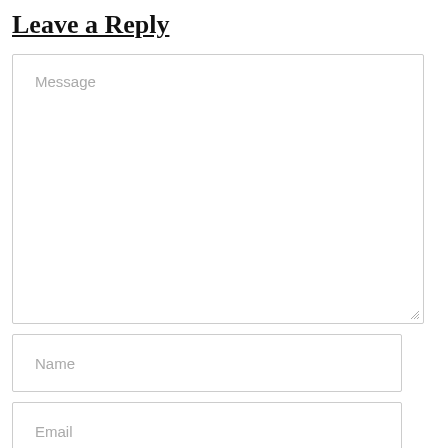Leave a Reply
[Figure (screenshot): A web comment form with a large textarea labeled 'Message', followed by two input fields labeled 'Name' and 'Email'.]